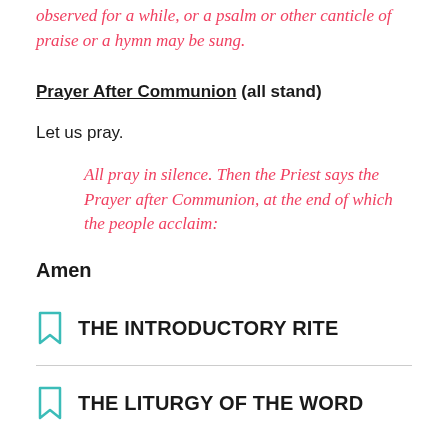observed for a while, or a psalm or other canticle of praise or a hymn may be sung.
Prayer After Communion (all stand)
Let us pray.
All pray in silence. Then the Priest says the Prayer after Communion, at the end of which the people acclaim:
Amen
THE INTRODUCTORY RITE
THE LITURGY OF THE WORD